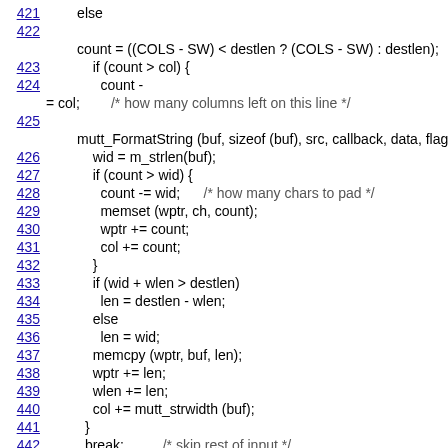Source code listing lines 421-442 with C code for string formatting and padding logic